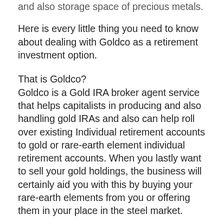and also storage space of precious metals.
Here is every little thing you need to know about dealing with Goldco as a retirement investment option.
That is Goldco?
Goldco is a Gold IRA broker agent service that helps capitalists in producing and also handling gold IRAs and also can help roll over existing Individual retirement accounts to gold or rare-earth element individual retirement accounts. When you lastly want to sell your gold holdings, the business will certainly aid you with this by buying your rare-earth elements from you or offering them in your place in the steel market.
Based in Forested Hills, California, Goldco...